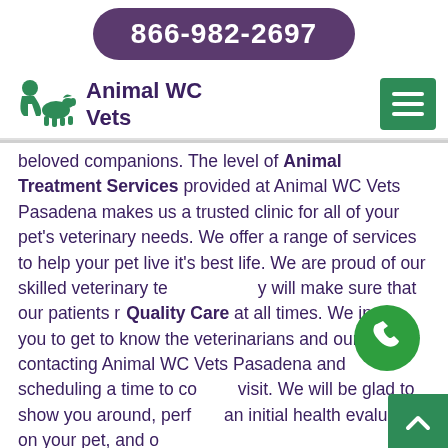866-982-2697
Animal WC Vets
beloved companions. The level of Animal Treatment Services provided at Animal WC Vets Pasadena makes us a trusted clinic for all of your pet's veterinary needs. We offer a range of services to help your pet live it's best life. We are proud of our skilled veterinary team who will make sure that our patients receive Quality Care at all times. We invite you to get to know the veterinarians and our staff by contacting Animal WC Vets Pasadena and scheduling a time to come visit. We will be glad to show you around, perform an initial health evaluation on your pet, and offer recommendations that are best needed.